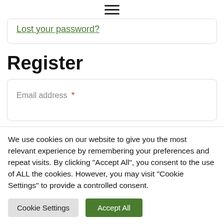☰ (hamburger menu icon)
Lost your password?
Register
Email address *
We use cookies on our website to give you the most relevant experience by remembering your preferences and repeat visits. By clicking "Accept All", you consent to the use of ALL the cookies. However, you may visit "Cookie Settings" to provide a controlled consent.